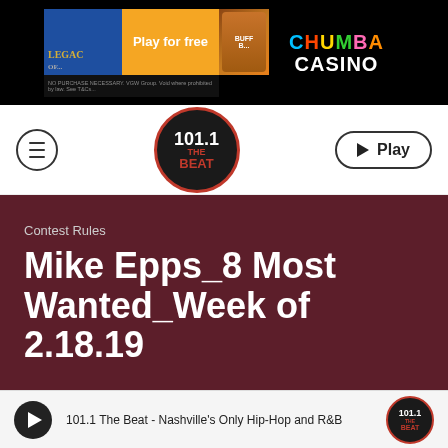[Figure (screenshot): Chumba Casino advertisement banner with 'Play for free' orange button, Legacy of... game imagery and colorful Chumba Casino logo on black background]
[Figure (logo): 101.1 The Beat radio station logo — circular badge with red border on dark background]
Contest Rules
Mike Epps_8 Most Wanted_Week of 2.18.19
Feb 14, 2019
101.1 The Beat - Nashville's Only Hip-Hop and R&B